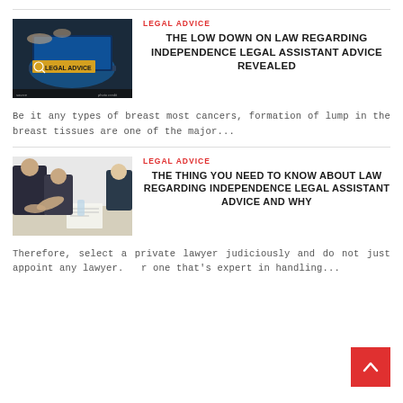[Figure (photo): Photo of a laptop with 'LEGAL ADVICE' text on screen, blue glowing display]
LEGAL ADVICE
THE LOW DOWN ON LAW REGARDING INDEPENDENCE LEGAL ASSISTANT ADVICE REVEALED
Be it any types of breast most cancers, formation of lump in the breast tissues are one of the major...
[Figure (photo): Photo of lawyers or business people in suits at a meeting table with documents]
LEGAL ADVICE
THE THING YOU NEED TO KNOW ABOUT LAW REGARDING INDEPENDENCE LEGAL ASSISTANT ADVICE AND WHY
Therefore, select a private lawyer judiciously and do not just appoint any lawyer. Hire one that's expert in handling...